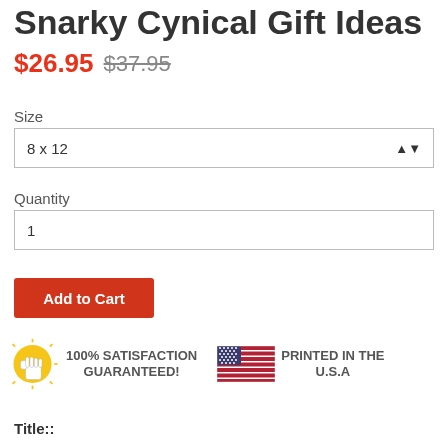Snarky Cynical Gift Ideas
$26.95  $37.95
Size
8 x 12
Quantity
1
Add to Cart
[Figure (infographic): 100% SATISFACTION GUARANTEED! badge with thumbs up icon and Printed in the U.S.A badge with American flag]
Title::